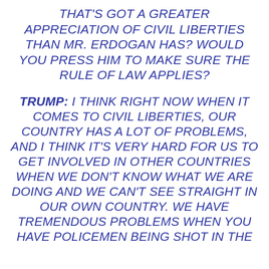THAT'S GOT A GREATER APPRECIATION OF CIVIL LIBERTIES THAN MR. ERDOGAN HAS? WOULD YOU PRESS HIM TO MAKE SURE THE RULE OF LAW APPLIES?
TRUMP: I THINK RIGHT NOW WHEN IT COMES TO CIVIL LIBERTIES, OUR COUNTRY HAS A LOT OF PROBLEMS, AND I THINK IT'S VERY HARD FOR US TO GET INVOLVED IN OTHER COUNTRIES WHEN WE DON'T KNOW WHAT WE ARE DOING AND WE CAN'T SEE STRAIGHT IN OUR OWN COUNTRY. WE HAVE TREMENDOUS PROBLEMS WHEN YOU HAVE POLICEMEN BEING SHOT IN THE